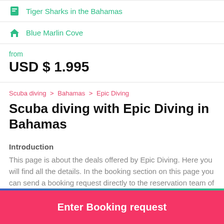Tiger Sharks in the Bahamas
Blue Marlin Cove
from
USD $ 1.995
Scuba diving > Bahamas > Epic Diving
Scuba diving with Epic Diving in Bahamas
Introduction
This page is about the deals offered by Epic Diving. Here you will find all the details. In the booking section on this page you can send a booking request directly to the reservation team of Epic Diving.
About Epic Diving
Enter Booking request